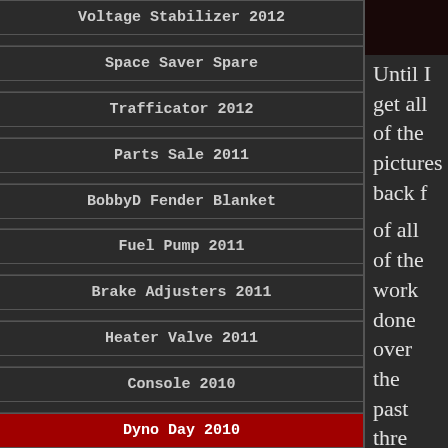Voltage Stabilizer 2012
Space Saver Spare
Trafficator 2012
Parts Sale 2011
BobbyD Fender Blanket
Fuel Pump 2011
Brake Adjusters 2011
Heater Valve 2011
Console 2010
Dyno Day 2010
Until I get all of the pictures back f... of all of the work done over the past thre... and three lobes that were going south o...
All of the engine work that I did to the ca...
The engine r...
The cam that is now in the car is the TH... rec... on everything else that I was doing to the... the c...
John Sancoucy keeps a record of every c...